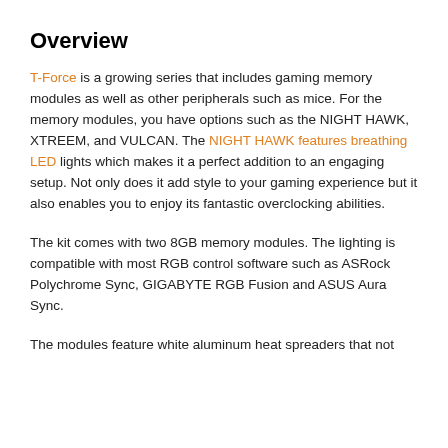Overview
T-Force is a growing series that includes gaming memory modules as well as other peripherals such as mice. For the memory modules, you have options such as the NIGHT HAWK, XTREEM, and VULCAN. The NIGHT HAWK features breathing LED lights which makes it a perfect addition to an engaging setup. Not only does it add style to your gaming experience but it also enables you to enjoy its fantastic overclocking abilities.
The kit comes with two 8GB memory modules. The lighting is compatible with most RGB control software such as ASRock Polychrome Sync, GIGABYTE RGB Fusion and ASUS Aura Sync.
The modules feature white aluminum heat spreaders that not